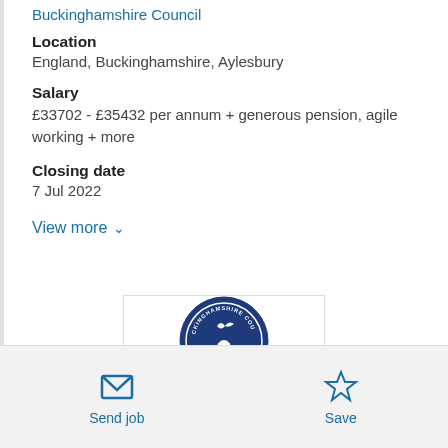Buckinghamshire Council
Location
England, Buckinghamshire, Aylesbury
Salary
£33702 - £35432 per annum + generous pension, agile working + more
Closing date
7 Jul 2022
View more
[Figure (logo): Buckinghamshire Council circular logo with dark blue background showing a bird and trees]
Send job
Save